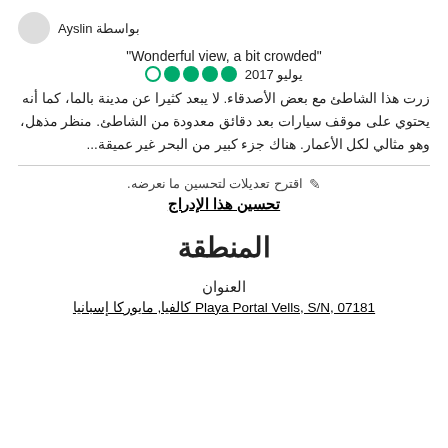بواسطة Ayslin
"Wonderful view, a bit crowded"
يوليو 2017 ●●●●○
زرت هذا الشاطئ مع بعض الأصدقاء. لا يبعد كثيرا عن مدينة بالما، كما أنه يحتوي على موقف سيارات بعد دقائق معدودة من الشاطئ. منظر مذهل، وهو مثالي لكل الأعمار. هناك جزء كبير من البحر غير عميقة...
✎ اقترح تعديلات لتحسين ما نعرضه.
تحسين هذا الإدراج
المنطقة
العنوان
Playa Portal Vells, S/N, 07181 كالفيا, مايوركا إسبانيا